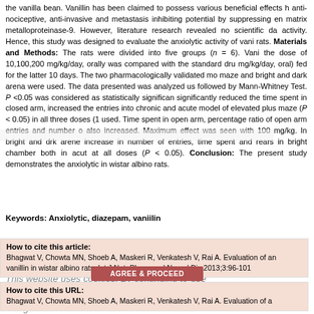the vanilla bean. Vanillin has been claimed to possess various beneficial effects including anti-nociceptive, anti-invasive and metastasis inhibiting potential by suppressing enz matrix metalloproteinase-9. However, literature research revealed no scientific data on anxiolytic activity. Hence, this study was designed to evaluate the anxiolytic activity of vanillin in rats. Materials and Methods: The rats were divided into five groups (n = 6). Vanillin at the dose of 10,100,200 mg/kg/day, orally was compared with the standard drug (diazepam 1 mg/kg/day, oral) fed for the latter 10 days. The two pharmacologically validated models elevated plus maze and bright and dark arena were used. The data presented was analyzed using Kruskal-Wallis test followed by Mann-Whitney Test. P <0.05 was considered as statistically significant. Vanillin significantly reduced the time spent in closed arm, increased the entries into open arm in both chronic and acute model of elevated plus maze (P < 0.05) in all three doses (10, 100, 200 mg/kg) used. Time spent in open arm, percentage ratio of open arm entries and number of entries were also increased. Maximum effect was seen with 100 mg/kg. In bright and dark arena model, there was increase in number of entries, time spent and rears in bright chamber both in acute and chronic model at all doses (P < 0.05). Conclusion: The present study demonstrates the anxiolytic property of vanillin in wistar albino rats.
Keywords: Anxiolytic, diazepam, vaniilin
This website uses cookies. By continuing to use this website you are giving consent to cookies being used. For information on cookies and how you can disable them visit our Privacy and Cookie Policy.
| How to cite this article: | Bhagwat V, Chowta MN, Shoeb A, Maskeri R, Venkatesh V, Rai A. Evaluation of anxiolytic activity of vanillin in wistar albino rats. Int J Nutr Pharmacol Neurol Dis 2013;3:96-101 |
| How to cite this URL: | Bhagwat V, Chowta MN, Shoeb A, Maskeri R, Venkatesh V, Rai A. Evaluation of a... |